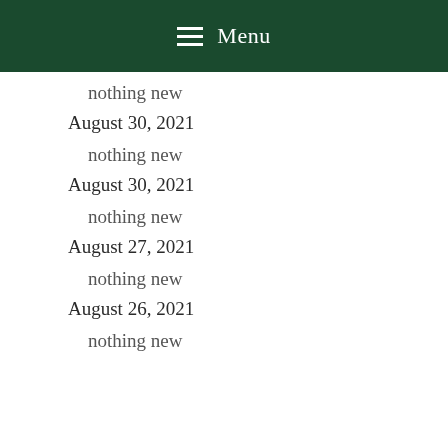Menu
nothing new
August 30, 2021
nothing new
August 30, 2021
nothing new
August 27, 2021
nothing new
August 26, 2021
nothing new